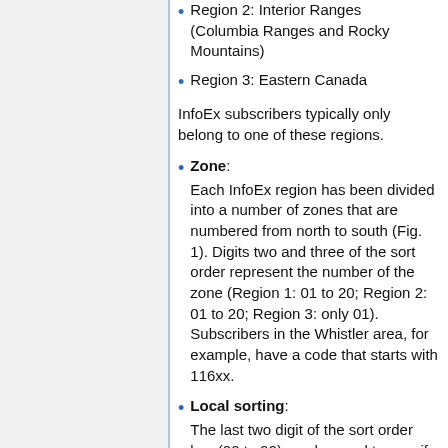Region 2: Interior Ranges (Columbia Ranges and Rocky Mountains)
Region 3: Eastern Canada
InfoEx subscribers typically only belong to one of these regions.
Zone: Each InfoEx region has been divided into a number of zones that are numbered from north to south (Fig. 1). Digits two and three of the sort order represent the number of the zone (Region 1: 01 to 20; Region 2: 01 to 20; Region 3: only 01). Subscribers in the Whistler area, for example, have a code that starts with 116xx.
Local sorting: The last two digit of the sort order key (00 to 99) can be used to specify